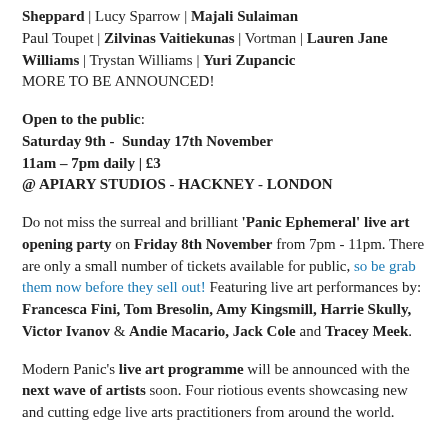Sheppard | Lucy Sparrow | Majali Sulaiman Paul Toupet | Zilvinas Vaitiekunas | Vortman | Lauren Jane Williams | Trystan Williams | Yuri Zupancic MORE TO BE ANNOUNCED!
Open to the public: Saturday 9th - Sunday 17th November 11am – 7pm daily | £3 @ APIARY STUDIOS - HACKNEY - LONDON
Do not miss the surreal and brilliant 'Panic Ephemeral' live art opening party on Friday 8th November from 7pm - 11pm. There are only a small number of tickets available for public, so be grab them now before they sell out! Featuring live art performances by: Francesca Fini, Tom Bresolin, Amy Kingsmill, Harrie Skully, Victor Ivanov & Andie Macario, Jack Cole and Tracey Meek.
Modern Panic's live art programme will be announced with the next wave of artists soon. Four riotious events showcasing new and cutting edge live arts practitioners from around the world.